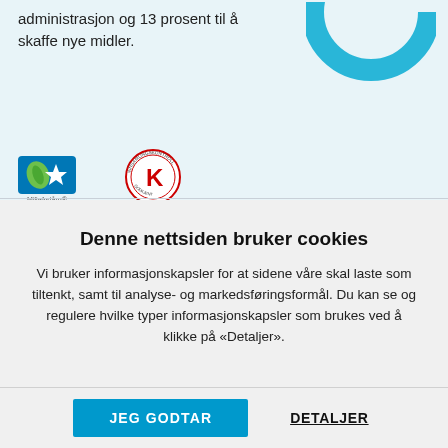administrasjon og 13 prosent til å skaffe nye midler.
[Figure (donut-chart): Partial donut chart in blue tones, cropped at top of page]
[Figure (logo): Miljøfyrtårn certification logo - green and blue badge with leaf]
[Figure (logo): Innsamlingskontroll circular logo with red K symbol]
Denne nettsiden bruker cookies
Vi bruker informasjonskapsler for at sidene våre skal laste som tiltenkt, samt til analyse- og markedsføringsformål. Du kan se og regulere hvilke typer informasjonskapsler som brukes ved å klikke på «Detaljer».
JEG GODTAR
DETALJER